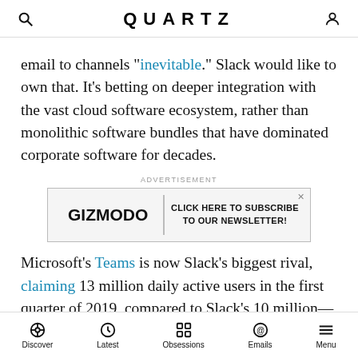QUARTZ
email to channels “inevitable.” Slack would like to own that. It’s betting on deeper integration with the vast cloud software ecosystem, rather than monolithic software bundles that have dominated corporate software for decades.
[Figure (other): Gizmodo advertisement banner: GIZMODO | CLICK HERE TO SUBSCRIBE TO OUR NEWSLETTER!]
Microsoft’s Teams is now Slack’s biggest rival, claiming 13 million daily active users in the first quarter of 2019, compared to Slack’s 10 million—but how Microsoft measures daily users is unclear. Jaluria pointed to Slack’s engagement metrics—users spend nine hours per day
Discover | Latest | Obsessions | Emails | Menu